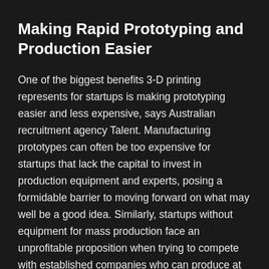Making Rapid Prototyping and Production Easier
One of the biggest benefits 3-D printing represents for startups is making prototyping easier and less expensive, says Australian recruitment agency Talent. Manufacturing prototypes can often be too expensive for startups that lack the capital to invest in production equipment and experts, posing a formidable barrier to moving forward on what may well be a good idea. Similarly, startups without equipment for mass production face an unprofitable proposition when trying to compete with established companies who can produce at scale.